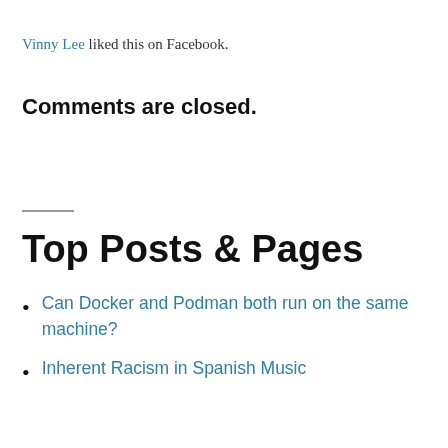Vinny Lee liked this on Facebook.
Comments are closed.
Top Posts & Pages
Can Docker and Podman both run on the same machine?
Inherent Racism in Spanish Music